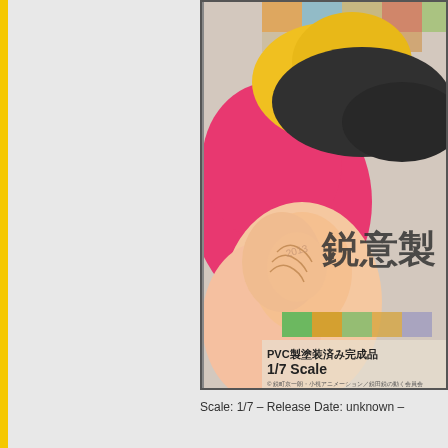[Figure (illustration): Anime illustration showing a character in pink shorts and yellow top with black jacket, lying down. Japanese text overlay reads 鋭意製 and PVC製塗装済み完成品 1/7 Scale with copyright notice.]
Scale: 1/7 – Release Date: unknown –